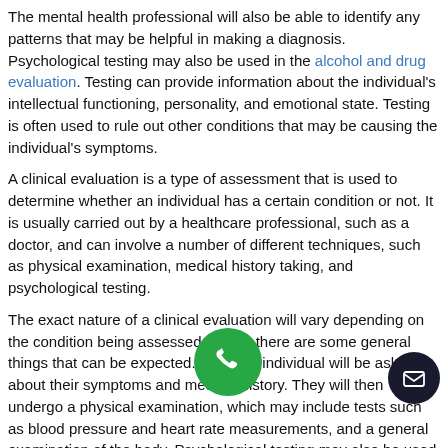The mental health professional will also be able to identify any patterns that may be helpful in making a diagnosis. Psychological testing may also be used in the alcohol and drug evaluation. Testing can provide information about the individual's intellectual functioning, personality, and emotional state. Testing is often used to rule out other conditions that may be causing the individual's symptoms.
A clinical evaluation is a type of assessment that is used to determine whether an individual has a certain condition or not. It is usually carried out by a healthcare professional, such as a doctor, and can involve a number of different techniques, such as physical examination, medical history taking, and psychological testing.
The exact nature of a clinical evaluation will vary depending on the condition being assessed for, but there are some general things that can be expected. First, the individual will be asked about their symptoms and medical history. They will then undergo a physical examination, which may include tests such as blood pressure and heart rate measurements, and a general examination of the body. Psychological testing may also be used in some cases, in order to get a better understanding of the individual's state. This could involve tests of memory and intelligence, as well as personality tests. The results clinical evaluation can be used to diagnose a condition, or to rule out the possibility of certain conditions.